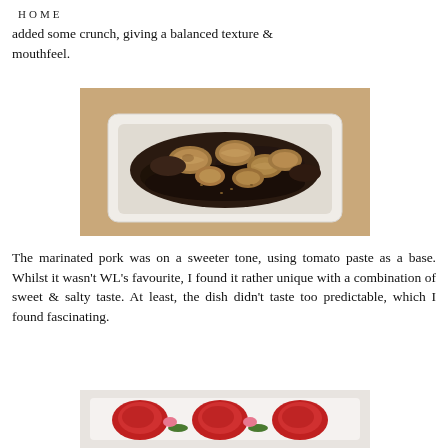HOME
added some crunch, giving a balanced texture & mouthfeel.
[Figure (photo): A white rectangular dish containing dark mushrooms or eggplant topped with walnuts, served on a paper-lined surface.]
The marinated pork was on a sweeter tone, using tomato paste as a base. Whilst it wasn't WL's favourite, I found it rather unique with a combination of sweet & salty taste. At least, the dish didn't taste too predictable, which I found fascinating.
[Figure (photo): A white rectangular plate with pieces of marinated red-colored pork garnished with green herbs and pink pickled items.]